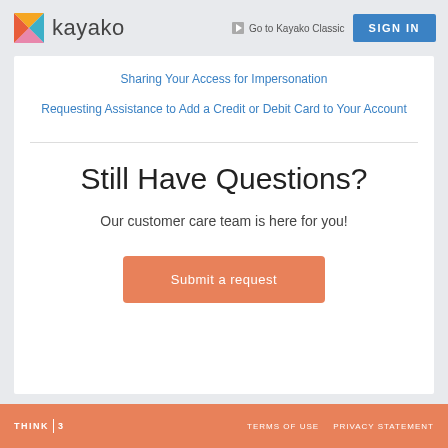kayako | Go to Kayako Classic | SIGN IN
Sharing Your Access for Impersonation
Requesting Assistance to Add a Credit or Debit Card to Your Account
Still Have Questions?
Our customer care team is here for you!
Submit a request
THINK | 3   TERMS OF USE   PRIVACY STATEMENT